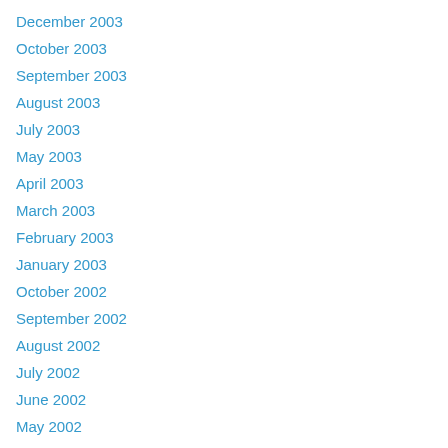December 2003
October 2003
September 2003
August 2003
July 2003
May 2003
April 2003
March 2003
February 2003
January 2003
October 2002
September 2002
August 2002
July 2002
June 2002
May 2002
March 2002
December 2001
November 2001
September 2001